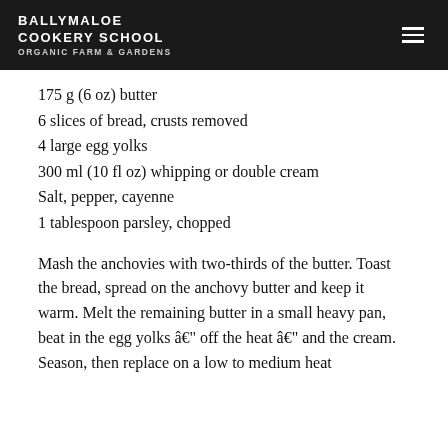BALLYMALOE COOKERY SCHOOL ORGANIC FARM & GARDENS
175 g (6 oz) butter
6 slices of bread, crusts removed
4 large egg yolks
300 ml (10 fl oz) whipping or double cream
Salt, pepper, cayenne
1 tablespoon parsley, chopped
Mash the anchovies with two-thirds of the butter. Toast the bread, spread on the anchovy butter and keep it warm. Melt the remaining butter in a small heavy pan, beat in the egg yolks â€" off the heat â€" and the cream. Season, then replace on a low to medium heat